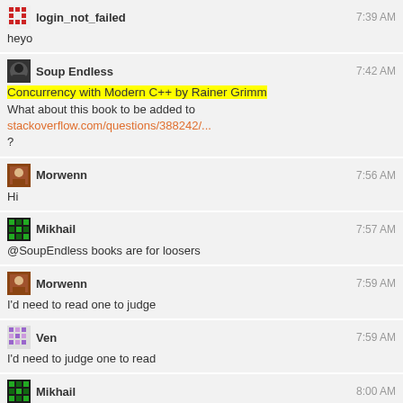login_not_failed  7:39 AM
heyo
Soup Endless  7:42 AM
Concurrency with Modern C++ by Rainer Grimm
What about this book to be added to stackoverflow.com/questions/388242/...
?
Morwenn  7:56 AM
Hi
Mikhail  7:57 AM
@SoupEndless books are for loosers
Morwenn  7:59 AM
I'd need to read one to judge
Ven  7:59 AM
I'd need to judge one to read
[Figure (photo): Book cover preview of a C++ Functional programming book with a purple bar at top, illustration of a dog/animal in middle, and purple bar at bottom with partial title text]